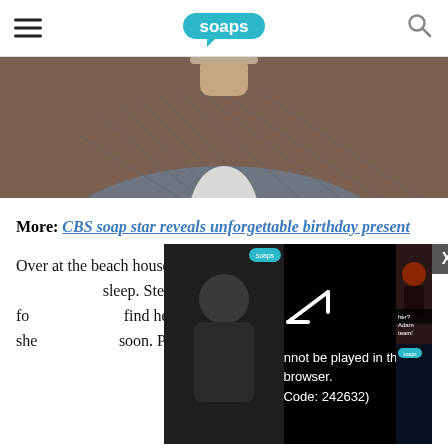soaps
[Figure (photo): Man in grey plaid blazer with white shirt, partial torso/neck shot]
More: CBS soap star reveals unforgettable birthday present
Over at the beach house, Paris visits with Steffy and Finn, w... sleep. Steffy than... talk about the fo... find her notes. Fi... assures Paris she... soon. Paris gazes at Hayes and comments on
[Figure (screenshot): Video player overlay showing error: The video cannot be played in this browser. (Error Code: 242632)]